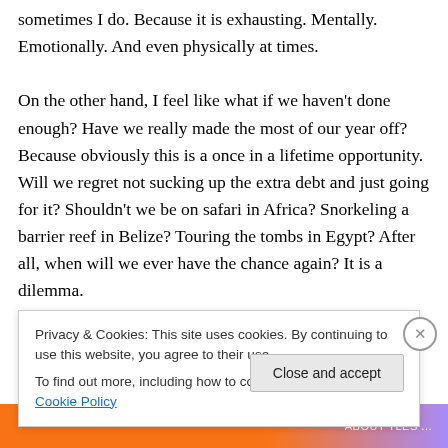sometimes I do. Because it is exhausting. Mentally. Emotionally. And even physically at times.
On the other hand, I feel like what if we haven't done enough? Have we really made the most of our year off? Because obviously this is a once in a lifetime opportunity. Will we regret not sucking up the extra debt and just going for it? Shouldn't we be on safari in Africa? Snorkeling a barrier reef in Belize? Touring the tombs in Egypt? After all, when will we ever have the chance again? It is a dilemma.
So why do we not think and keep going about things? Mo...
Privacy & Cookies: This site uses cookies. By continuing to use this website, you agree to their use.
To find out more, including how to control cookies, see here: Cookie Policy
Close and accept